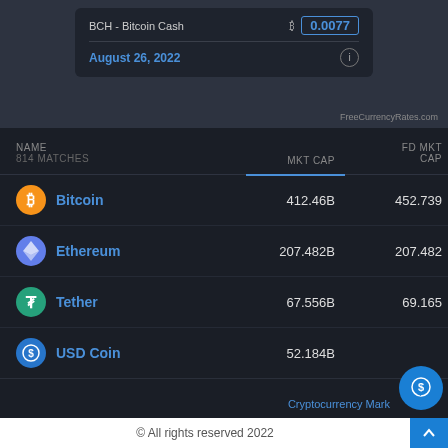[Figure (screenshot): Widget card showing BCH - Bitcoin Cash rate 0.0077 dated August 26, 2022 from FreeCurrencyRates.com]
| NAME
814 MATCHES | MKT CAP | FD MKT CAP |
| --- | --- | --- |
| Bitcoin | 412.46B | 452.739... |
| Ethereum | 207.482B | 207.482... |
| Tether | 67.556B | 69.165... |
| USD Coin | 52.184B | ... |
© All rights reserved 2022